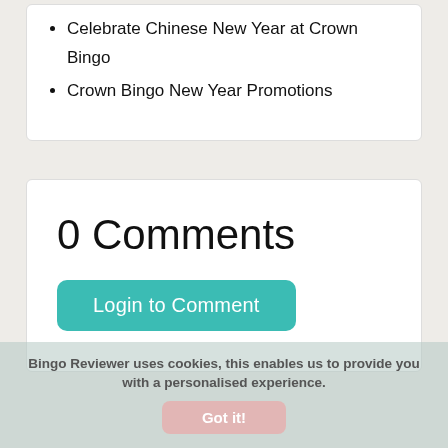Celebrate Chinese New Year at Crown Bingo
Crown Bingo New Year Promotions
0 Comments
Login to Comment
Bingo Reviewer uses cookies, this enables us to provide you with a personalised experience.
Got it!